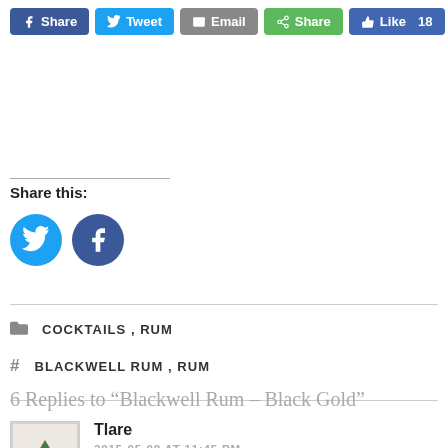[Figure (screenshot): Social share buttons row: Facebook Share, Twitter Tweet, Email, Green Share button, and blue Like 18 button]
Share this:
[Figure (screenshot): Two circular social media buttons: Twitter (blue bird) and Facebook (blue f)]
COCKTAILS, RUM
BLACKWELL RUM, RUM
6 Replies to “Blackwell Rum – Black Gold”
Tlare
2015-05-08 AT 11:45 PM